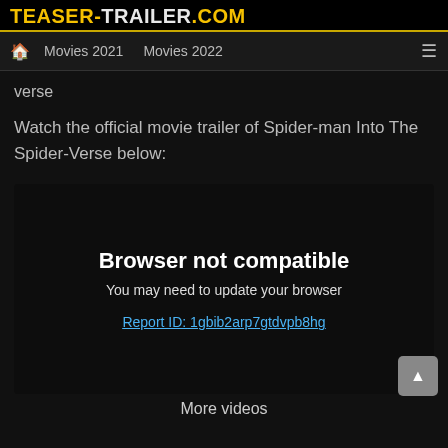TEASER-TRAILER.COM
🏠  Movies 2021    Movies 2022    ≡
verse
Watch the official movie trailer of Spider-man Into The Spider-Verse below:
[Figure (other): Embedded video player showing 'Browser not compatible' error with text: 'You may need to update your browser' and a link 'Report ID: 1gbib2arp7gtdvpb8hg']
More videos